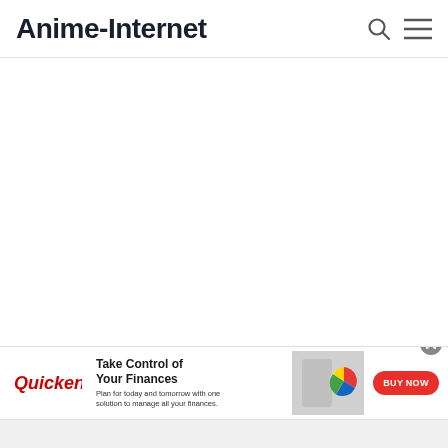Anime-Internet
[Figure (screenshot): Website screenshot of Anime-Internet homepage with navigation bar showing site logo, search icon, and hamburger menu. Main content area is blank/white. Bottom shows a Quicken advertisement banner with close button, logo, headline 'Take Control of Your Finances', subtext, product image, and BUY NOW button.]